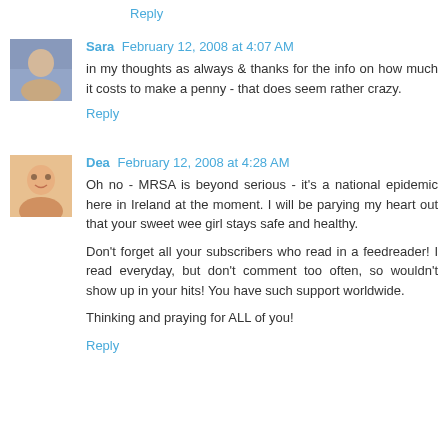Reply
Sara February 12, 2008 at 4:07 AM
in my thoughts as always & thanks for the info on how much it costs to make a penny - that does seem rather crazy.
Reply
Dea February 12, 2008 at 4:28 AM
Oh no - MRSA is beyond serious - it's a national epidemic here in Ireland at the moment. I will be parying my heart out that your sweet wee girl stays safe and healthy.
Don't forget all your subscribers who read in a feedreader! I read everyday, but don't comment too often, so wouldn't show up in your hits! You have such support worldwide.
Thinking and praying for ALL of you!
Reply